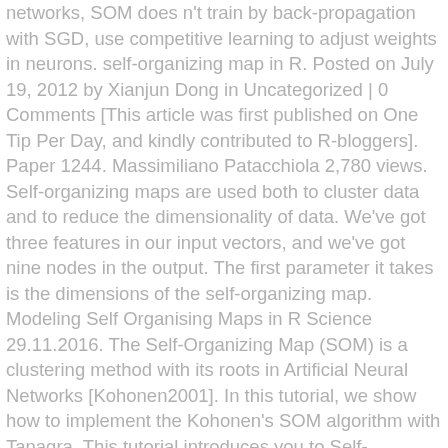networks, SOM does n't train by back-propagation with SGD, use competitive learning to adjust weights in neurons. self-organizing map in R. Posted on July 19, 2012 by Xianjun Dong in Uncategorized | 0 Comments [This article was first published on One Tip Per Day, and kindly contributed to R-bloggers]. Paper 1244. Massimiliano Patacchiola 2,780 views. Self-organizing maps are used both to cluster data and to reduce the dimensionality of data. We've got three features in our input vectors, and we've got nine nodes in the output. The first parameter it takes is the dimensions of the self-organizing map. Modeling Self Organising Maps in R Science 29.11.2016. The Self-Organizing Map (SOM) is a clustering method with its roots in Artificial Neural Networks [Kohonen2001]. In this tutorial, we show how to implement the Kohonen's SOM algorithm with Tanagra. This tutorial introduces you to Self-Organizing Maps (SOMs). Though Self-Organizing Maps form a subset of so-called arti cial neural networks [Kri07], no prior knowledge of these is required to fully understand the inner